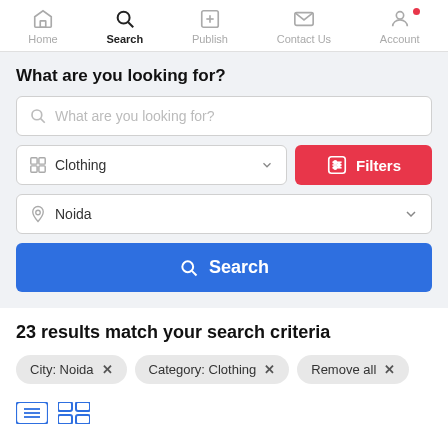Home | Search | Publish | Contact Us | Account
What are you looking for?
What are you looking for? (search input placeholder)
Clothing (category dropdown)
Filters
Noida (location dropdown)
Search
23 results match your search criteria
City: Noida ×
Category: Clothing ×
Remove all ×